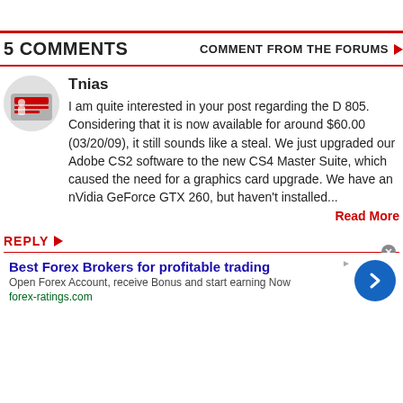5 COMMENTS
COMMENT FROM THE FORUMS
Tnias
I am quite interested in your post regarding the D 805. Considering that it is now available for around $60.00 (03/20/09), it still sounds like a steal. We just upgraded our Adobe CS2 software to the new CS4 Master Suite, which caused the need for a graphics card upgrade. We have an nVidia GeForce GTX 260, but haven't installed...
Read More
REPLY
Best Forex Brokers for profitable trading
Open Forex Account, receive Bonus and start earning Now
forex-ratings.com